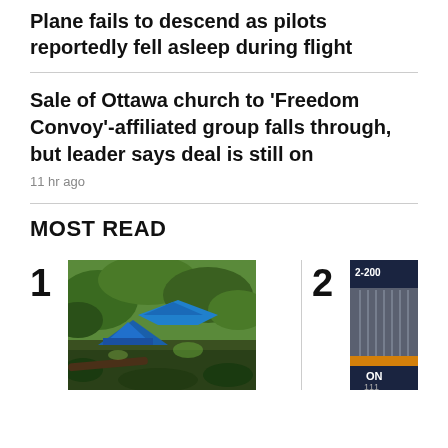Plane fails to descend as pilots reportedly fell asleep during flight
Sale of Ottawa church to 'Freedom Convoy'-affiliated group falls through, but leader says deal is still on
11 hr ago
MOST READ
[Figure (photo): Outdoor scene with blue camping tents among dense trees and brush, with dappled light and green foliage.]
[Figure (photo): Partial image of a product or billboard with text '2-200' at the top and 'ON' and '111' visible at the bottom, with orange stripe.]